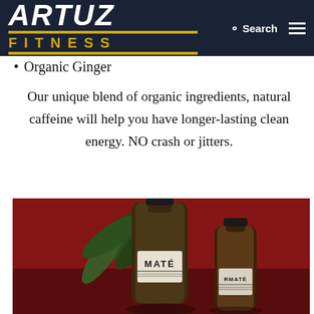ARTUZ FITNESS — Search (navigation bar)
Organic Ginger
Our unique blend of organic ingredients, natural caffeine will help you have longer-lasting clean energy. NO crash or jitters.
[Figure (photo): Photo of two dark glass bottles labeled MATÉ on a red background with a green plant behind them]